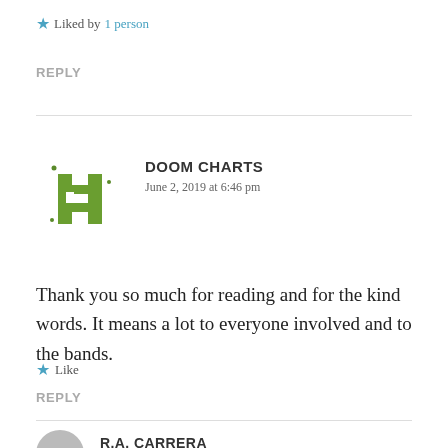★ Liked by 1 person
REPLY
[Figure (logo): Doom Charts green pixel/hashtag logo icon]
DOOM CHARTS
June 2, 2019 at 6:46 pm
Thank you so much for reading and for the kind words. It means a lot to everyone involved and to the bands.
★ Like
REPLY
R.A. CARRERA